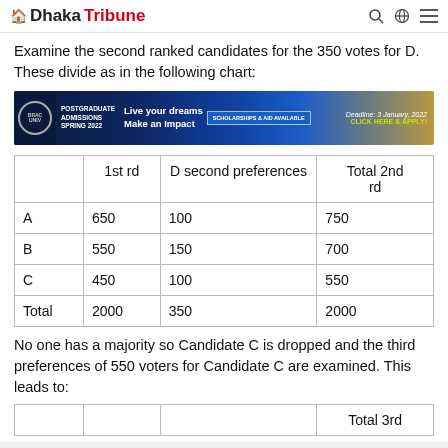Dhaka Tribune
Examine the second ranked candidates for the 350 votes for D. These divide as in the following chart:
[Figure (other): BRAC University advertisement banner for Postgraduate Admissions Spring 2022. Text: Live your dreams Make an Impact. Scholarships & Aid Available. Deadline: 3 January, 2022. Click Here & Apply!]
|  | 1st rd | D second preferences | Total 2nd rd |
| --- | --- | --- | --- |
| A | 650 | 100 | 750 |
| B | 550 | 150 | 700 |
| C | 450 | 100 | 550 |
| Total | 2000 | 350 | 2000 |
No one has a majority so Candidate C is dropped and the third preferences of 550 voters for Candidate C are examined. This leads to:
|  |  |  | Total 3rd |
| --- | --- | --- | --- |